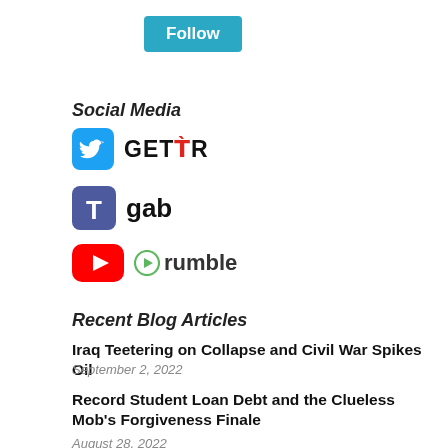[Figure (other): Follow button – teal/cyan colored button with white text 'Follow']
Social Media
[Figure (logo): Twitter bird icon (blue square) and GETTR logo text]
[Figure (logo): Gab icon (purple square with T) and gab text logo]
[Figure (logo): YouTube icon (red rounded rectangle with play button) and Rumble logo with green play icon]
Recent Blog Articles
Iraq Teetering on Collapse and Civil War Spikes Oil
September 2, 2022
Record Student Loan Debt and the Clueless Mob's Forgiveness Finale
August 28, 2022